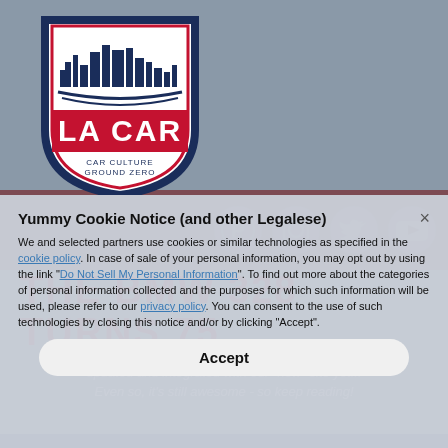[Figure (logo): LA Car logo - shield shape with city skyline silhouette, 'LA CAR' in red text, 'CAR CULTURE GROUND ZERO' subtitle, navy and red colors]
[Figure (infographic): Social media icons bar - Pinterest, Instagram, Twitter, YouTube icons in dark red/maroon background strip]
THE BMW 328 TURNS 75
This article is from our archives and has not been updated and integrated with our "new" site yet... Even so, it's still awesome - so keep reading!
Yummy Cookie Notice (and other Legalese)
We and selected partners use cookies or similar technologies as specified in the cookie policy. In case of sale of your personal information, you may opt out by using the link "Do Not Sell My Personal Information". To find out more about the categories of personal information collected and the purposes for which such information will be used, please refer to our privacy policy. You can consent to the use of such technologies by closing this notice and/or by clicking "Accept".
Accept